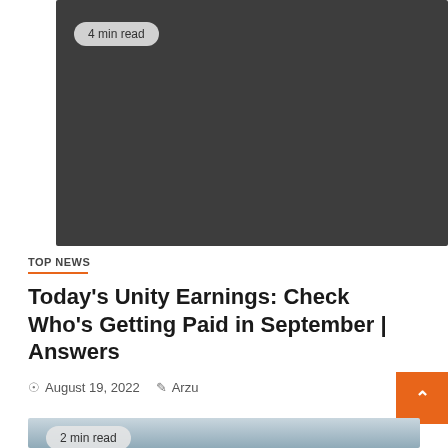[Figure (photo): Dark gray/charcoal colored article thumbnail image with a '4 min read' badge overlay in the top-left corner]
TOP NEWS
Today's Unity Earnings: Check Who's Getting Paid in September | Answers
August 19, 2022   Arzu
[Figure (photo): Partial article thumbnail image showing a coastal or waterfront scene with a '2 min read' badge overlay]